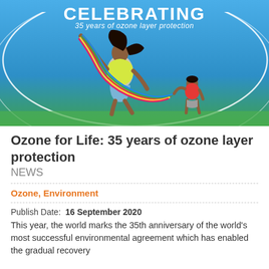[Figure (photo): Hero banner image with blue sky background. Large white text reads CELEBRATING and italic text reads '35 years of ozone layer protection'. A woman in a yellow shirt jumps joyfully holding a colorful ribbon streamer; a child in red holds the other end. Two white arc lines frame the scene.]
Ozone for Life: 35 years of ozone layer protection
NEWS
Ozone, Environment
Publish Date: 16 September 2020
This year, the world marks the 35th anniversary of the world's most successful environmental agreement which has enabled the gradual recovery